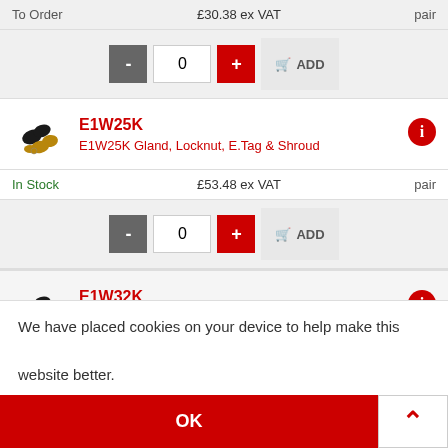To Order   £30.38 ex VAT   pair
[Figure (screenshot): Quantity controls row with minus button, 0 quantity input, plus button, and ADD button]
[Figure (photo): E1W25K product - cable gland with locknut, e-tag and shroud components]
E1W25K
E1W25K Gland, Locknut, E.Tag & Shroud
In Stock   £53.48 ex VAT   pair
[Figure (screenshot): Quantity controls row with minus button, 0 quantity input, plus button, and ADD button]
[Figure (photo): E1W32K product - cable gland with locknut, e-tag and shroud components]
E1W32K
E1W32K Gland, Locknut, E.Tag & Shroud
To Order   £73.12 ex VAT   pair
We have placed cookies on your device to help make this website better.